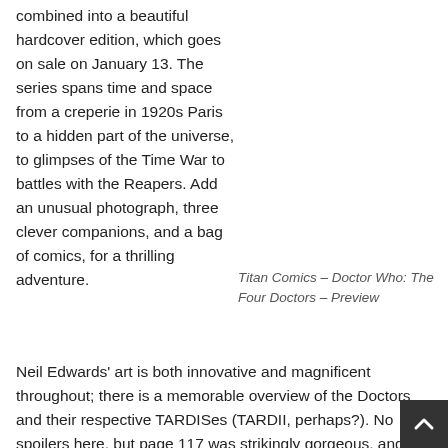combined into a beautiful hardcover edition, which goes on sale on January 13. The series spans time and space from a creperie in 1920s Paris to a hidden part of the universe, to glimpses of the Time War to battles with the Reapers. Add an unusual photograph, three clever companions, and a bag of comics, for a thrilling adventure.
Titan Comics – Doctor Who: The Four Doctors – Preview
Neil Edwards' art is both innovative and magnificent throughout; there is a memorable overview of the Doctors and their respective TARDISes (TARDII, perhaps?). No spoilers here, but page 117 was strikingly gorgeous, and the coloring